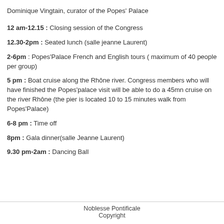Dominique Vingtain, curator of the Popes' Palace
12 am-12.15 : Closing session of the Congress
12.30-2pm : Seated lunch (salle jeanne Laurent)
2-6pm : Popes'Palace French and English tours ( maximum of 40 people per group)
5 pm : Boat cruise along the Rhône river. Congress members who will have finished the Popes'palace visit will be able to do a 45mn cruise on the river Rhône (the pier is located 10 to 15 minutes walk from Popes'Palace)
6-8 pm : Time off
8pm : Gala dinner(salle Jeanne Laurent)
9.30 pm-2am : Dancing Ball
Noblesse Pontificale
Copyright